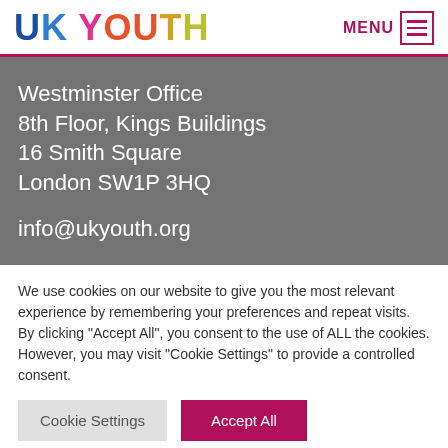UK YOUTH   MENU
Westminster Office
8th Floor, Kings Buildings
16 Smith Square
London SW1P 3HQ

info@ukyouth.org
We use cookies on our website to give you the most relevant experience by remembering your preferences and repeat visits. By clicking "Accept All", you consent to the use of ALL the cookies. However, you may visit "Cookie Settings" to provide a controlled consent.